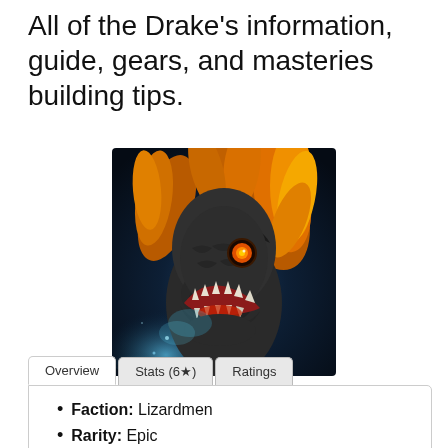All of the Drake's information, guide, gears, and masteries building tips.
[Figure (illustration): Fantasy game character art: a dragon-like creature with dark scales, orange/yellow mane-like feathers, glowing orange eye, sharp teeth showing in open mouth, light blue glow effects in background]
Basic Information
Faction: Lizardmen
Rarity: Epic